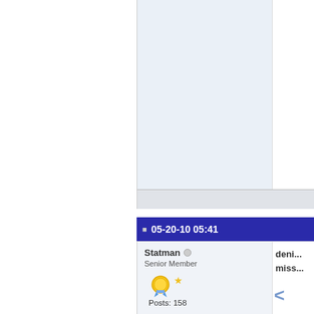[Figure (screenshot): Forum post content area with light blue-gray background, top portion of a forum post]
Last e... 10 at ... add p...
05-20-10 05:41
Statman
Senior Member
[Figure (illustration): Gold medal award icon with blue ribbon and a gold star next to it]
Posts: 158
deni... miss...